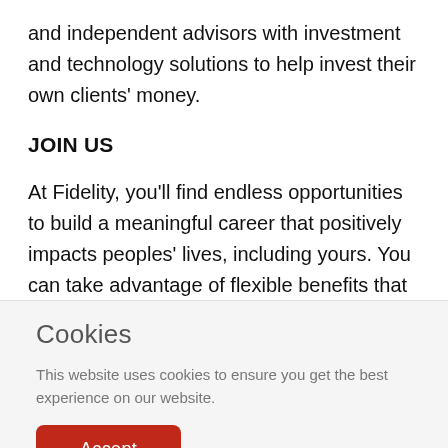and independent advisors with investment and technology solutions to help invest their own clients' money.
JOIN US
At Fidelity, you'll find endless opportunities to build a meaningful career that positively impacts peoples' lives, including yours. You can take advantage of flexible benefits that support you through every stage of your career,
Cookies
This website uses cookies to ensure you get the best experience on our website.
Accept